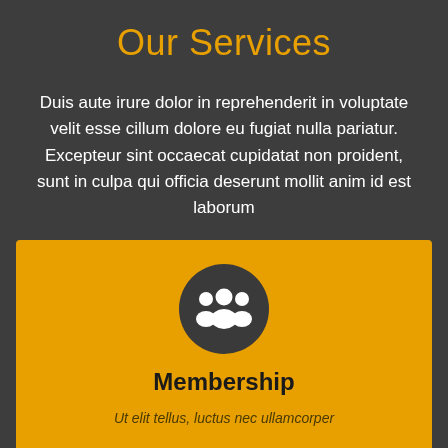Our Services
Duis aute irure dolor in reprehenderit in voluptate velit esse cillum dolore eu fugiat nulla pariatur. Excepteur sint occaecat cupidatat non proident, sunt in culpa qui officia deserunt mollit anim id est laborum
[Figure (illustration): Orange card with dark circular icon showing a group of people (membership/users icon), followed by the label Membership and subtext starting with Ut elit tellus, luctus nec ullamcorper]
Membership
Ut elit tellus, luctus nec ullamcorper